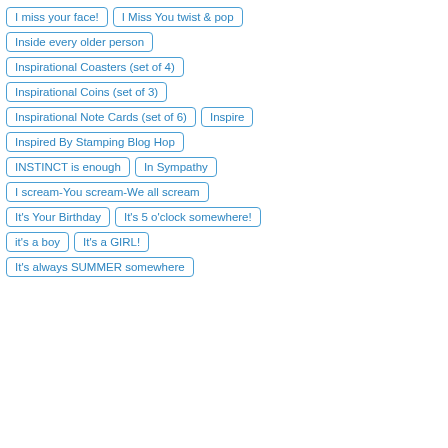I miss your face!
I Miss You twist & pop
Inside every older person
Inspirational Coasters (set of 4)
Inspirational Coins (set of 3)
Inspirational Note Cards (set of 6)
Inspire
Inspired By Stamping Blog Hop
INSTINCT is enough
In Sympathy
I scream-You scream-We all scream
It's Your Birthday
It's 5 o'clock somewhere!
it's a boy
It's a GIRL!
It's always SUMMER somewhere